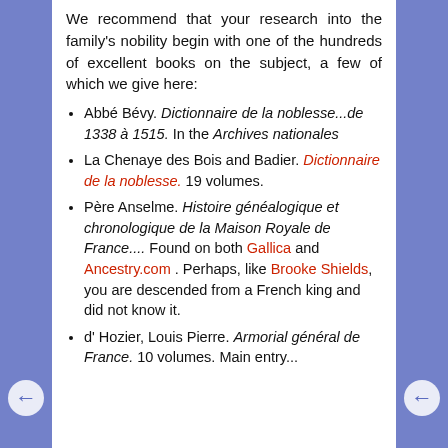We recommend that your research into the family's nobility begin with one of the hundreds of excellent books on the subject, a few of which we give here:
Abbé Bévy. Dictionnaire de la noblesse...de 1338 à 1515. In the Archives nationales
La Chenaye des Bois and Badier. Dictionnaire de la noblesse. 19 volumes.
Père Anselme. Histoire généalogique et chronologique de la Maison Royale de France.... Found on both Gallica and Ancestry.com . Perhaps, like Brooke Shields, you are descended from a French king and did not know it.
d' Hozier, Louis Pierre. Armorial général de France. 10 volumes. Main entry...